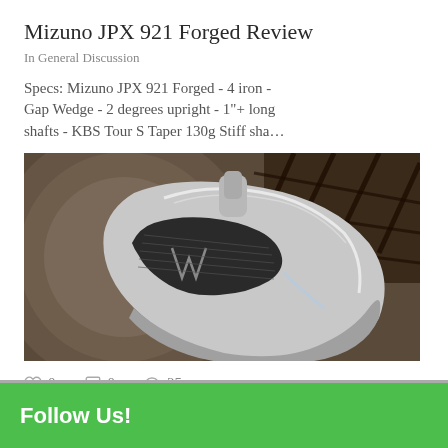Mizuno JPX 921 Forged Review
In General Discussion
Specs: Mizuno JPX 921 Forged - 4 iron - Gap Wedge - 2 degrees upright - 1"+ long shafts - KBS Tour S Taper 130g Stiff sha…
[Figure (photo): Close-up photo of a Mizuno JPX 921 Forged iron club head, silver metallic, resting on a surface with a wicker chair visible in the background]
0  0  25
Follow Us!